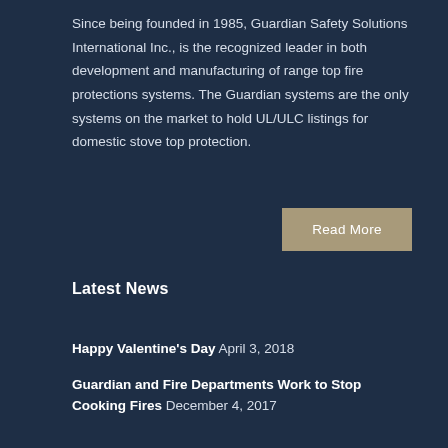Since being founded in 1985, Guardian Safety Solutions International Inc., is the recognized leader in both development and manufacturing of range top fire protections systems. The Guardian systems are the only systems on the market to hold UL/ULC listings for domestic stove top protection.
Read More
Latest News
Happy Valentine's Day  April 3, 2018
Guardian and Fire Departments Work to Stop Cooking Fires  December 4, 2017